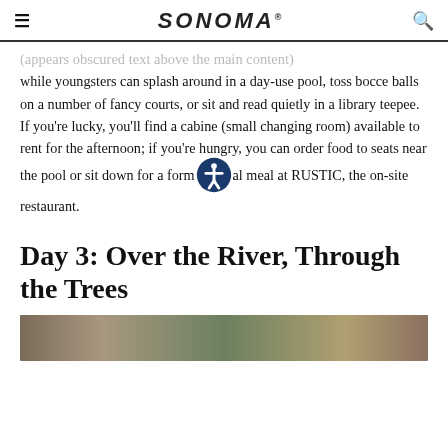SONOMA
(appears obscured) while youngsters can splash around in a day-use pool, toss bocce balls on a number of fancy courts, or sit and read quietly in a library teepee. If you're lucky, you'll find a cabine (small changing room) available to rent for the afternoon; if you're hungry, you can order food to seats near the pool or sit down for a formal meal at RUSTIC, the on-site restaurant.
Day 3: Over the River, Through the Trees
[Figure (photo): Partial view of a photo strip at the bottom of the page, showing colorful outdoor scene]